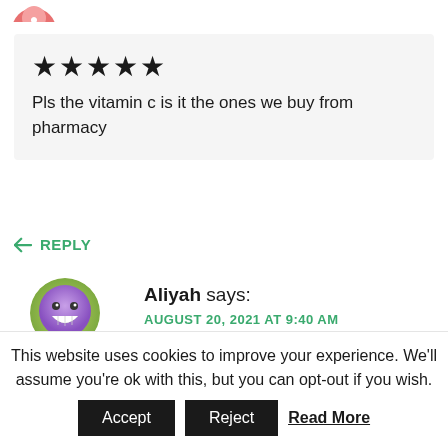[Figure (illustration): Partial avatar image at top of page, circular profile picture cropped at top]
★★★★★
Pls the vitamin c is it the ones we buy from pharmacy
↩ REPLY
[Figure (illustration): Round smiley face avatar with purple/green gradient, smiling character]
Aliyah says:
AUGUST 20, 2021 AT 9:40 AM
This website uses cookies to improve your experience. We'll assume you're ok with this, but you can opt-out if you wish. Accept Reject Read More